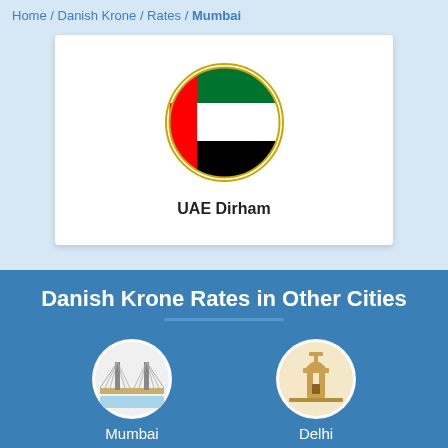Home / Danish Krone / Rates / Mumbai
[Figure (illustration): UAE flag rendered as a circle with green, white, red, and black sections and a white crescent and star emblem]
UAE Dirham
Danish Krone Rates in Other Cities
[Figure (illustration): Mumbai city icon showing a cable-stayed bridge (Bandra-Worli Sea Link) in a circular frame]
Mumbai
[Figure (illustration): Delhi city icon showing India Gate monument in a circular frame]
Delhi